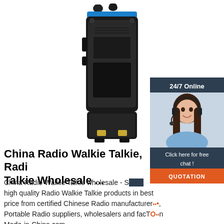[Figure (photo): Black walkie-talkie / handheld radio with blue accent band at top, two knobs on top, side buttons visible, battery pack at bottom with two gold contacts, white background]
[Figure (infographic): Customer service widget: dark blue background with '24/7 Online' text at top, photo of smiling woman with headset in center, 'Click here for free chat!' text, orange 'QUOTATION' button at bottom]
China Radio Walkie Talkie, Radio Walkie Talkie Wholesale ...
China Radio Walkie Talkie wholesale - Select high quality Radio Walkie Talkie products in best price from certified Chinese Radio manufacturers, Portable Radio suppliers, wholesalers and factory on Made-in-China.com